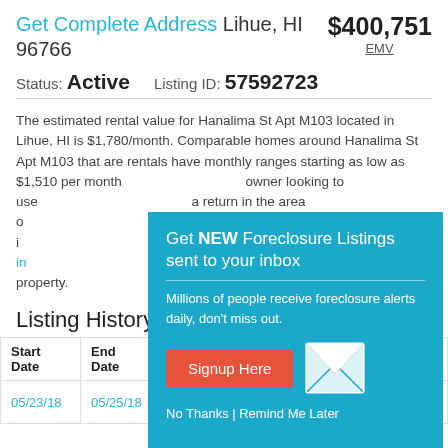Get Complete Address Lihue, HI 96766 $400,751 EMV
Status: Active   Listing ID: 57592723
The estimated rental value for Hanalima St Apt M103 located in Lihue, HI is $1,780/month. Comparable homes around Hanalima St Apt M103 that are rentals have monthly ranges starting as low as $1,510 per month and as high as $2,950 per month. If you are an owner looking to use this property as a rental, you can expect a return in the area of ... There are many factors which influence rental price, such as amenities, etc. Sign in to get full rental information as well as more details about this property.
[Figure (infographic): Overlay popup: Get NEW Foreclosure Listings sent to your inbox. Millions of people receive foreclosure alerts daily, don't miss out. Signup Here button and mail icon. No Thanks | Remind Me Later links.]
Listing History
| Start Date | End Date | (y) |  |
| --- | --- | --- | --- |
| 05/23/18 | 05/25/18 | Preforeclosure | THE BANK OF NEW YORK |